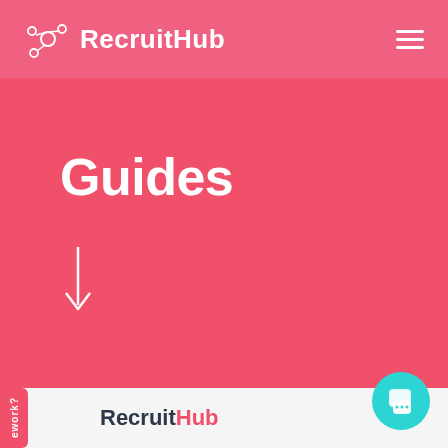RecruitHub
Guides
[Figure (screenshot): Down arrow icon pointing downward in white]
[Figure (logo): RecruitHub logo at bottom of page]
[Figure (other): Teal chat bubble button in bottom right corner]
ework?